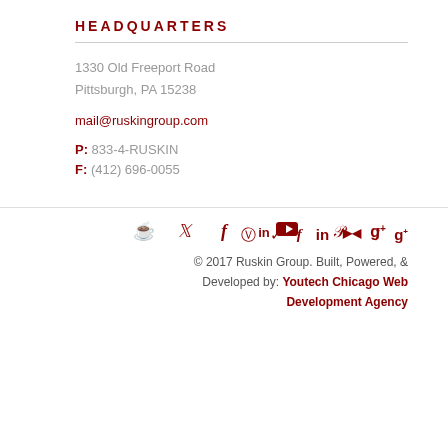HEADQUARTERS
1330 Old Freeport Road
Pittsburgh, PA 15238
mail@ruskingroup.com
P: 833-4-RUSKIN
F: (412) 696-0055
© 2017 Ruskin Group. Built, Powered, & Developed by: Youtech Chicago Web Development Agency